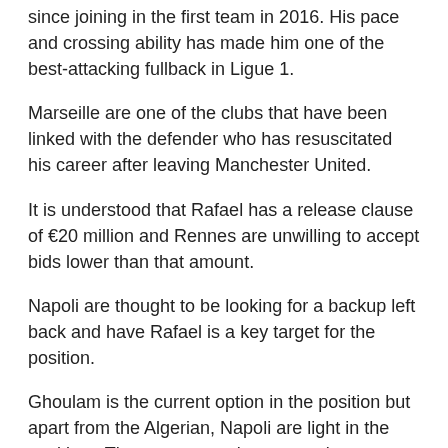since joining in the first team in 2016. His pace and crossing ability has made him one of the best-attacking fullback in Ligue 1.
Marseille are one of the clubs that have been linked with the defender who has resuscitated his career after leaving Manchester United.
It is understood that Rafael has a release clause of €20 million and Rennes are unwilling to accept bids lower than that amount.
Napoli are thought to be looking for a backup left back and have Rafael is a key target for the position.
Ghoulam is the current option in the position but apart from the Algerian, Napoli are light in the position.  The current number two option Maisimovic is expected to leave the club before the end of the Italian transfer window.
Roma have also been linked with the defender with new manager Paulo Fonseca keen to revamp the squad. The capital sides have shown in the past that they are capable of making good deals and Rafael is a quality signing.